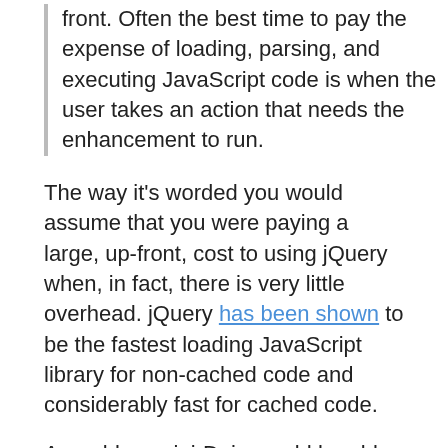front. Often the best time to pay the expense of loading, parsing, and executing JavaScript code is when the user takes an action that needs the enhancement to run.
The way it's worded you would assume that you were paying a large, up-front, cost to using jQuery when, in fact, there is very little overhead. jQuery has been shown to be the fastest loading JavaScript library for non-cached code and considerably fast for cached code.
Arguably a mini-Dojo would be able to provide an extra edge in this respect – however any gains that you would make up-front (which would be minimal – mini-Dojo is only about half the size of jQuery, as it stands) would have to contend with any future overhead incurred by loading additional components at a later time.